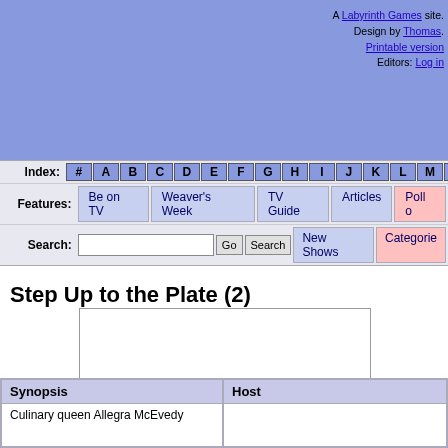A Labyrinth Games site. Design by Thomas. Printable version Editors: Log in
Index: # A B C D E F G H I J K L M N O P
Features: Be on TV | Weaver's Week | TV Guide | Articles | Poll o...
Search: [input] Go Search | New Shows | Categorie...
Step Up to the Plate (2)
[Figure (other): Empty white image box with border]
| Synopsis | Host |
| --- | --- |
| Culinary queen Allegra McEvedy |  |